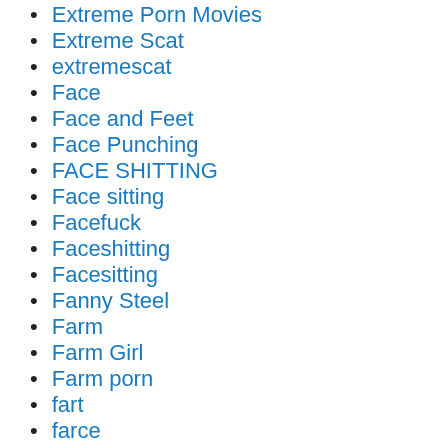Extreme Porn Movies
Extreme Scat
extremescat
Face
Face and Feet
Face Punching
FACE SHITTING
Face sitting
Facefuck
Faceshitting
Facesitting
Fanny Steel
Farm
Farm Girl
Farm porn
fart
farce…